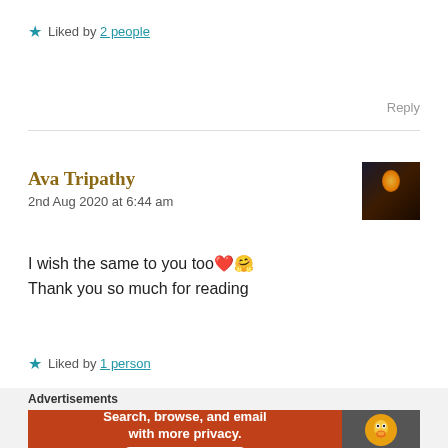★ Liked by 2 people
Reply
Ava Tripathy
2nd Aug 2020 at 6:44 am
I wish the same to you too❤️🤗
Thank you so much for reading
★ Liked by 1 person
Reply
Advertisements
[Figure (infographic): DuckDuckGo advertisement banner: orange left panel reads 'Search, browse, and email with more privacy. All in One Free App', dark right panel shows DuckDuckGo logo and name]